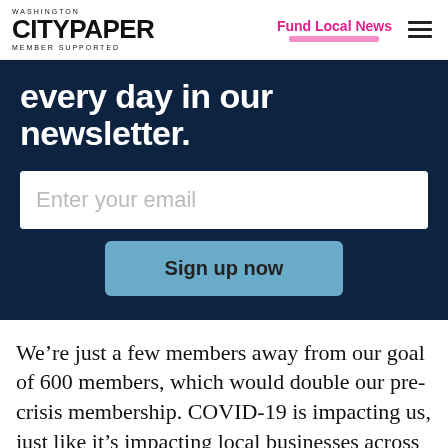WASHINGTON CITYPAPER MEMBER SUPPORTED | Fund Local News
every day in our newsletter.
Enter your email
Sign up now
We’re just a few members away from our goal of 600 members, which would double our pre-crisis membership. COVID-19 is impacting us, just like it’s impacting local businesses across D.C. If you can, please